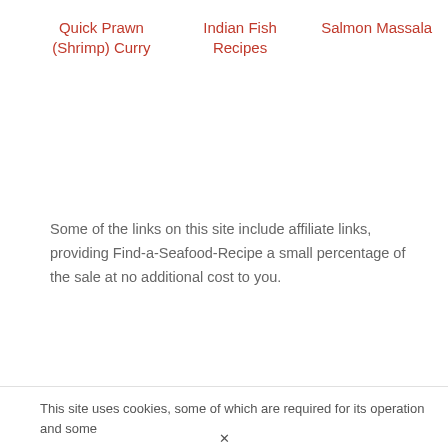Quick Prawn (Shrimp) Curry
Indian Fish Recipes
Salmon Massala
Some of the links on this site include affiliate links, providing Find-a-Seafood-Recipe a small percentage of the sale at no additional cost to you.
This site uses cookies, some of which are required for its operation and some